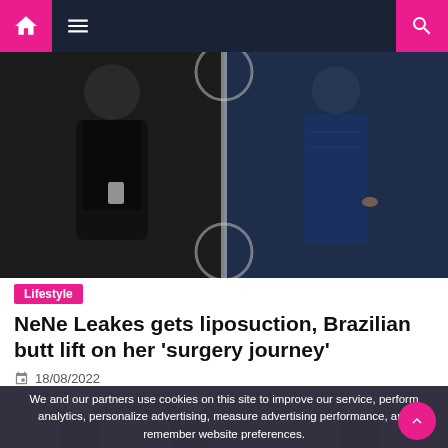Navigation bar with home, menu, and search icons
[Figure (photo): Before and after comparison photos of NeNe Leakes: left side shows a heavier figure in black outfit, right side shows a slimmer figure in navy blue dress]
Lifestyle
NeNe Leakes gets liposuction, Brazilian butt lift on her ‘surgery journey’
18/08/2022
We and our partners use cookies on this site to improve our service, perform analytics, personalize advertising, measure advertising performance, and remember website preferences.